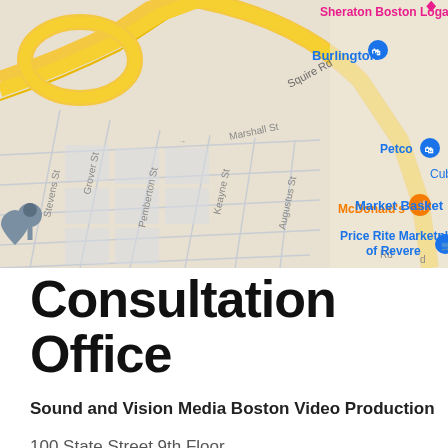[Figure (map): Google Maps screenshot showing a street map of Revere, MA area near Boston Logan Airport. Streets visible include Squire Rd, Marshall St, Grover St, Stevens St, Pemberton St, Keayne St, Augustus St. Landmarks labeled include Sheraton Boston Logan, Burlington, Petco, Cub (cut off), Market Basket, McDonald's, Price Rite Marketplace of Revere, Firestone Complete Auto Care. A gray location pin is visible at lower left. Roads include a yellow highway/major road. Map background is light gray for streets, pale yellow for major roads.]
Consultation Office
Sound and Vision Media Boston Video Production
100 State Street 9th Floor